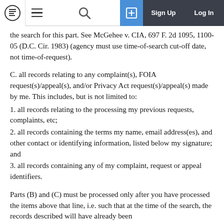[Navigation bar] Logo | Hamburger menu | Search | Box icon | Sign Up | Log In
the search for this part. See McGehee v. CIA, 697 F. 2d 1095, 1100-05 (D.C. Cir. 1983) (agency must use time-of-search cut-off date, not time-of-request).
C. all records relating to any complaint(s), FOIA request(s)/appeal(s), and/or Privacy Act request(s)/appeal(s) made by me. This includes, but is not limited to:
1. all records relating to the processing my previous requests, complaints, etc;
2. all records containing the terms my name, email address(es), and other contact or identifying information, listed below my signature; and
3. all records containing any of my complaint, request or appeal identifiers.
Parts (B) and (C) must be processed only after you have processed the items above that line, i.e. such that at the time of the search, the records described will have already been